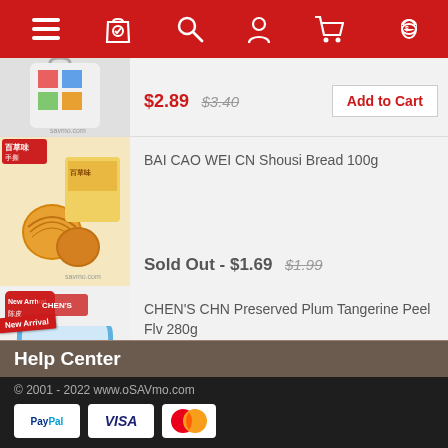[Figure (screenshot): Red navigation bar with menu, shopping bag, search, user, cart, and rewards icons]
[Figure (photo): Partial product image - colorful shopping bag product]
$2.89 $3.40
Add to Cart
BAI CAO WEI CN Shousi Bread 100g
[Figure (photo): BAI CAO WEI Shousi bread rolls product image]
Sold Out - $1.69 $1.99
CHEN'S CHN Preserved Plum Tangerine Peel Flv 280g
[Figure (photo): CHEN'S CHN Preserved Plum Tangerine Peel Flv 280g product with New Arrival badge]
$6.89 $8.10
Add to Cart
Help Center
© 2001 - 2022 www.oSAVmo.com
[Figure (logo): PayPal, VISA, and MasterCard payment icons]